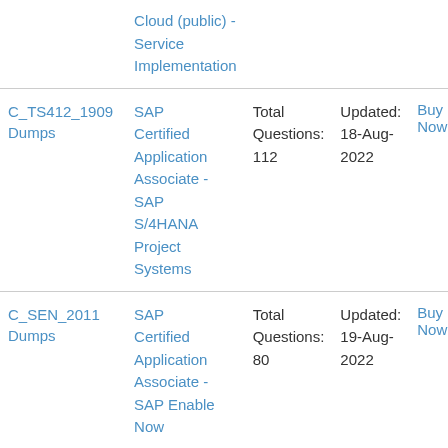| Exam | Certification | Questions | Updated | Action |
| --- | --- | --- | --- | --- |
|  | Cloud (public) - Service Implementation |  |  |  |
| C_TS412_1909 Dumps | SAP Certified Application Associate - SAP S/4HANA Project Systems | Total Questions: 112 | Updated: 18-Aug-2022 | Buy Now |
| C_SEN_2011 Dumps | SAP Certified Application Associate - SAP Enable Now | Total Questions: 80 | Updated: 19-Aug-2022 | Buy Now |
| C_S4CSV_2108 Dumps | SAP Certified Application Associate - | Total Questions: | Updated: 19-Aug-2022 |  |